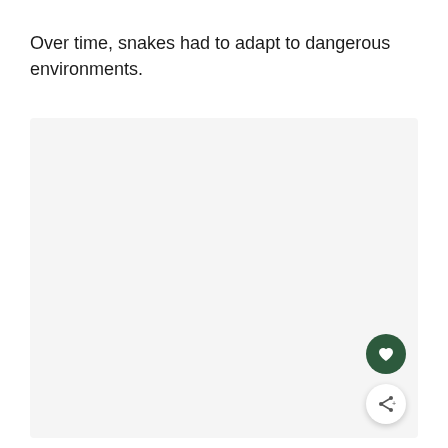Over time, snakes had to adapt to dangerous environments.
[Figure (photo): Large light gray placeholder image area with three small gray dots near the bottom center, indicating a loading or empty image state.]